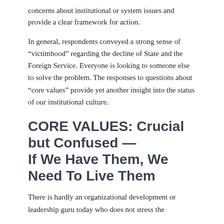concerns about institutional or system issues and provide a clear framework for action.
In general, respondents conveyed a strong sense of “victimhood” regarding the decline of State and the Foreign Service. Everyone is looking to someone else to solve the problem. The responses to questions about “core values” provide yet another insight into the status of our institutional culture.
CORE VALUES: Crucial but Confused — If We Have Them, We Need To Live Them
There is hardly an organizational development or leadership guru today who does not stress the